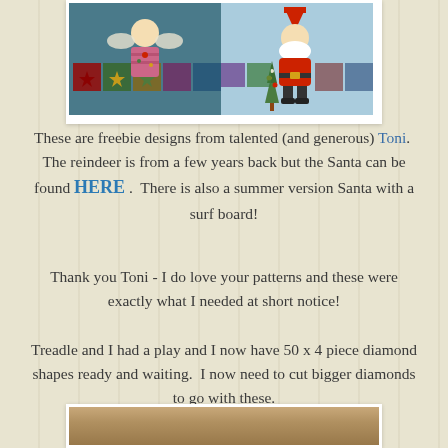[Figure (photo): Christmas quilt image showing two panels: left panel has an angel/reindeer figure with Christmas quilt blocks including stars, and right panel has a Santa Claus figure with a Christmas tree on a patchwork background]
These are freebie designs from talented (and generous) Toni.  The reindeer is from a few years back but the Santa can be found HERE .  There is also a summer version Santa with a surf board!
Thank you Toni - I do love your patterns and these were exactly what I needed at short notice!
Treadle and I had a play and I now have 50 x 4 piece diamond shapes ready and waiting.  I now need to cut bigger diamonds to go with these.
[Figure (photo): Partial bottom photo showing what appears to be fabric or quilting materials]